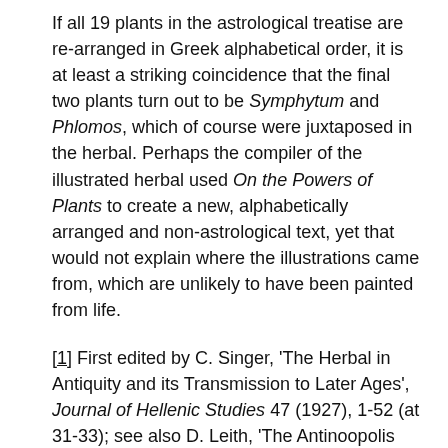If all 19 plants in the astrological treatise are re-arranged in Greek alphabetical order, it is at least a striking coincidence that the final two plants turn out to be Symphytum and Phlomos, which of course were juxtaposed in the herbal. Perhaps the compiler of the illustrated herbal used On the Powers of Plants to create a new, alphabetically arranged and non-astrological text, yet that would not explain where the illustrations came from, which are unlikely to have been painted from life.
[1] First edited by C. Singer, 'The Herbal in Antiquity and its Transmission to Later Ages', Journal of Hellenic Studies 47 (1927), 1-52 (at 31-33); see also D. Leith, 'The Antinoopolis Illustrated Herbal (PJohnson + PAntin. 3.214 = MP3 2095', Zeitschrift für Papyrologie und Epigraphik 156 (2006), 141-156.